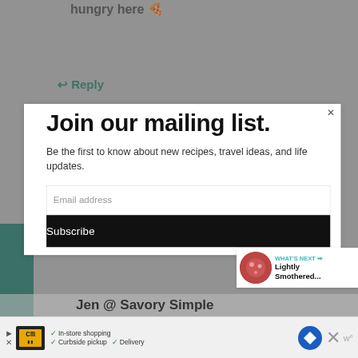hungry here 🍕
↩ Reply
Join our mailing list.
Be the first to know about new recipes, travel ideas, and life updates.
Email address
Subscribe
931
WHAT'S NEXT → Lightly Smothered...
Jen @ Savory Simple
In-store shopping  Curbside pickup  Delivery